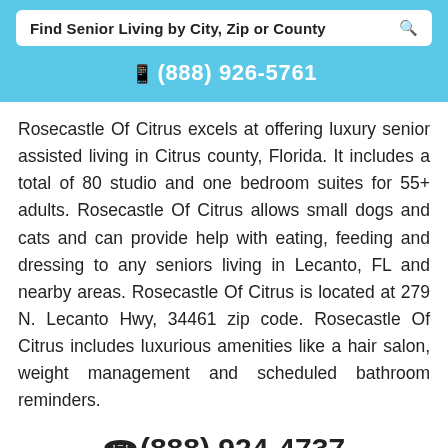Find Senior Living by City, Zip or County
(888) 926-5761
Rosecastle Of Citrus excels at offering luxury senior assisted living in Citrus county, Florida. It includes a total of 80 studio and one bedroom suites for 55+ adults. Rosecastle Of Citrus allows small dogs and cats and can provide help with eating, feeding and dressing to any seniors living in Lecanto, FL and nearby areas. Rosecastle Of Citrus is located at 279 N. Lecanto Hwy, 34461 zip code. Rosecastle Of Citrus includes luxurious amenities like a hair salon, weight management and scheduled bathroom reminders.
(888) 924-4737